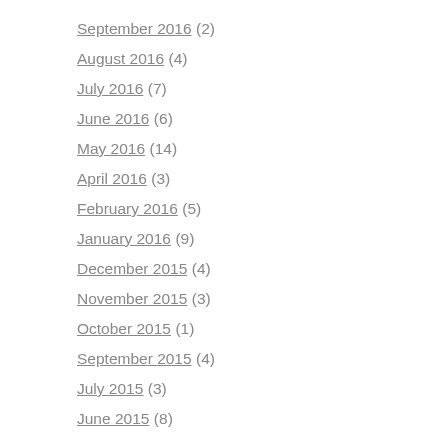September 2016 (2)
August 2016 (4)
July 2016 (7)
June 2016 (6)
May 2016 (14)
April 2016 (3)
February 2016 (5)
January 2016 (9)
December 2015 (4)
November 2015 (3)
October 2015 (1)
September 2015 (4)
July 2015 (3)
June 2015 (8)